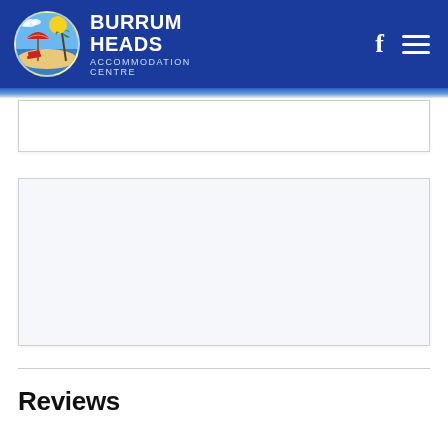BURRUM HEADS ACCOMMODATION CENTRE
[Figure (screenshot): White empty content box area 1]
[Figure (screenshot): Large white/light-blue empty content box area 2]
Reviews